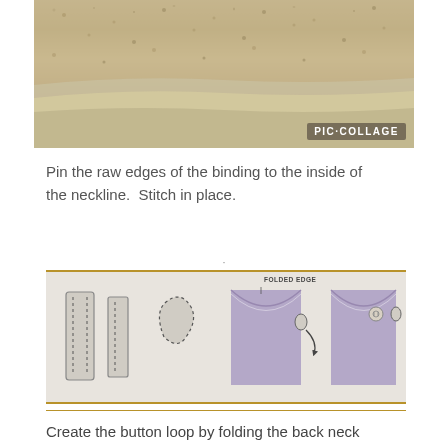[Figure (photo): Close-up photograph of fabric binding pinned to inside of neckline, showing tan/beige fabric layers. PIC·COLLAGE watermark visible in bottom right corner.]
Pin the raw edges of the binding to the inside of the neckline.  Stitch in place.
[Figure (illustration): Sewing diagram showing steps to create a button loop: two fabric strip illustrations (one showing stitching lines), a folded teardrop shape, a neckline with folded edge labeled 'FOLDED EDGE' with an arrow showing the loop being attached, and a finished neckline with button loop and button.]
Create the button loop by folding the back neck loop